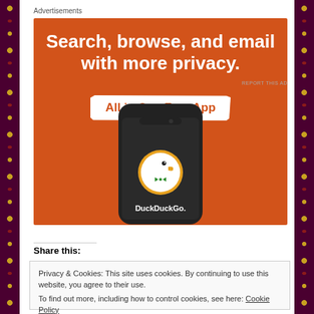Advertisements
[Figure (illustration): DuckDuckGo advertisement: orange background with white bold text 'Search, browse, and email with more privacy.' and a white banner button reading 'All in One Free App' in orange. Below is a smartphone displaying the DuckDuckGo duck logo and the text 'DuckDuckGo.']
REPORT THIS AD
Share this:
Privacy & Cookies: This site uses cookies. By continuing to use this website, you agree to their use.
To find out more, including how to control cookies, see here: Cookie Policy
Close and accept